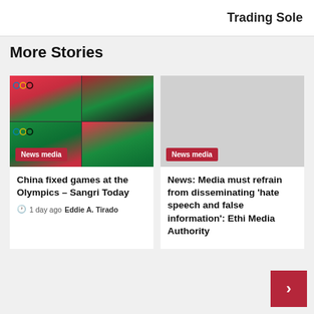Trading Sole
More Stories
[Figure (photo): Badminton players at the Olympics, 2x2 grid of photos showing players in red and black uniforms on a green court with pink Olympics branding. News media badge.]
China fixed games at the Olympics – Sangri Today
1 day ago  Eddie A. Tirado
[Figure (photo): Light gray placeholder image with a News media badge overlay.]
News: Media must refrain from disseminating 'hate speech and false information': Ethi Media Authority